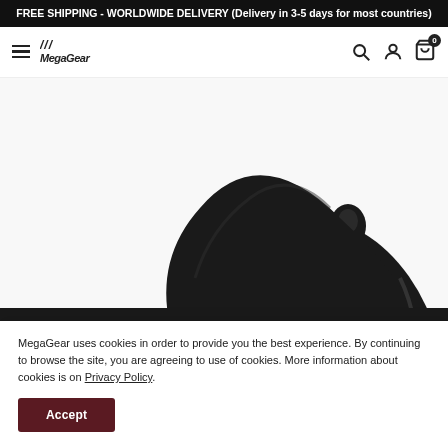FREE SHIPPING - WORLDWIDE DELIVERY (Delivery in 3-5 days for most countries)
[Figure (screenshot): MegaGear website navbar with hamburger menu icon, MegaGear logo, search icon, user icon, and cart icon with badge showing 0]
[Figure (photo): Black neoprene camera bag/pouch product photo on white background, showing the top portion of a padded black camera case with a small loop at the top]
MegaGear uses cookies in order to provide you the best experience. By continuing to browse the site, you are agreeing to use of cookies. More information about cookies is on Privacy Policy.
Accept